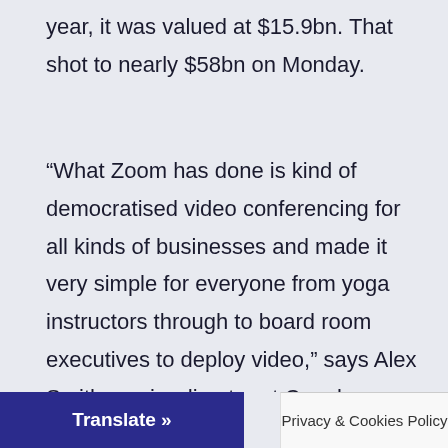year, it was valued at $15.9bn. That shot to nearly $58bn on Monday.
“What Zoom has done is kind of democratised video conferencing for all kinds of businesses and made it very simple for everyone from yoga instructors through to board room executives to deploy video,” says Alex Smith, senior director at Canalys.
The firm’s bread and butter customers are corporate clients, who pay for subscriptions and enhanced features.